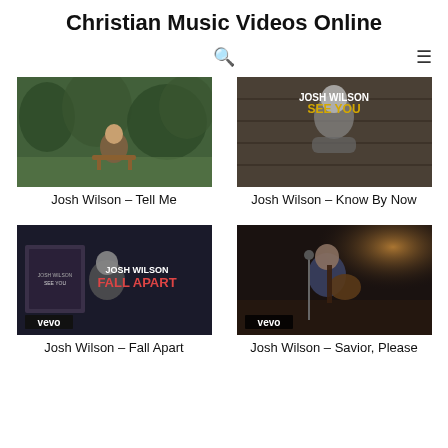Christian Music Videos Online
[Figure (screenshot): Navigation bar with search icon and hamburger menu icon]
[Figure (photo): Thumbnail for Josh Wilson – Tell Me, showing a man sitting outdoors in a forested/green setting]
Josh Wilson – Tell Me
[Figure (photo): Thumbnail for Josh Wilson – Know By Now, showing Josh Wilson album art with text 'JOSH WILSON SEE YOU']
Josh Wilson – Know By Now
[Figure (photo): Thumbnail for Josh Wilson – Fall Apart, showing VEVO branded video with 'JOSH WILSON FALL APART' text and album art]
Josh Wilson – Fall Apart
[Figure (photo): Thumbnail for Josh Wilson – Savior, Please, showing a man playing acoustic guitar in a dimly lit studio with VEVO logo]
Josh Wilson – Savior, Please